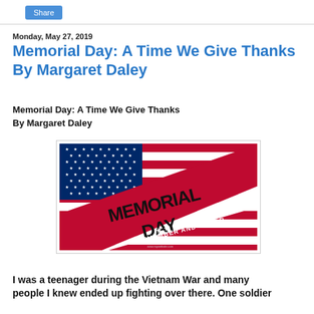Share
Monday, May 27, 2019
Memorial Day: A Time We Give Thanks
By Margaret Daley
Memorial Day: A Time We Give Thanks
By Margaret Daley
[Figure (illustration): Memorial Day graphic with American flag (stars and red/white stripes) and large text reading MEMORIAL DAY REMEMBER AND HONOR with stars on a red and white diagonal banner design]
I was a teenager during the Vietnam War and many people I knew ended up fighting over there. One soldier